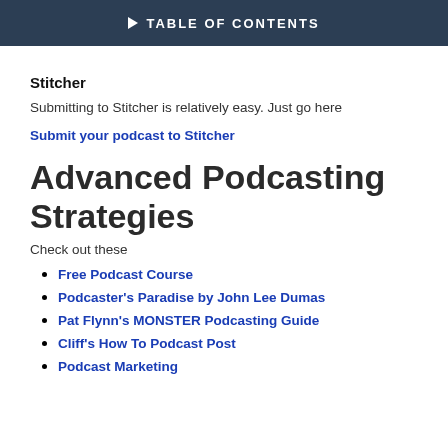TABLE OF CONTENTS
Stitcher
Submitting to Stitcher is relatively easy. Just go here
Submit your podcast to Stitcher
Advanced Podcasting Strategies
Check out these
Free Podcast Course
Podcaster's Paradise by John Lee Dumas
Pat Flynn's MONSTER Podcasting Guide
Cliff's How To Podcast Post
Podcast Marketing